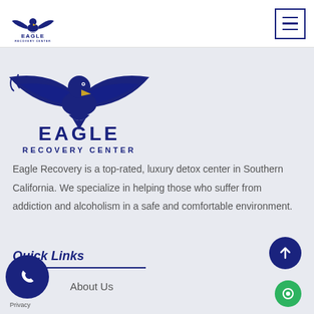[Figure (logo): Eagle Recovery Center logo - small version in top nav bar with eagle icon and text]
[Figure (logo): Eagle Recovery Center large logo with eagle wings spread and bold text EAGLE RECOVERY CENTER in dark blue]
Eagle Recovery is a top-rated, luxury detox center in Southern California. We specialize in helping those who suffer from addiction and alcoholism in a safe and comfortable environment.
Quick Links
About Us